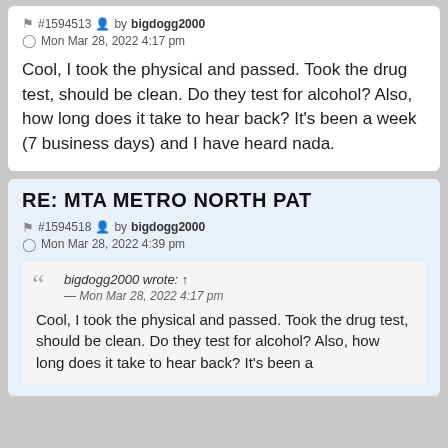#1594513 by bigdogg2000 Mon Mar 28, 2022 4:17 pm
Cool, I took the physical and passed. Took the drug test, should be clean. Do they test for alcohol? Also, how long does it take to hear back? It's been a week (7 business days) and I have heard nada.
RE: MTA METRO NORTH PAT
#1594518 by bigdogg2000 Mon Mar 28, 2022 4:39 pm
bigdogg2000 wrote: ↑ — Mon Mar 28, 2022 4:17 pm Cool, I took the physical and passed. Took the drug test, should be clean. Do they test for alcohol? Also, how long does it take to hear back? It's been a